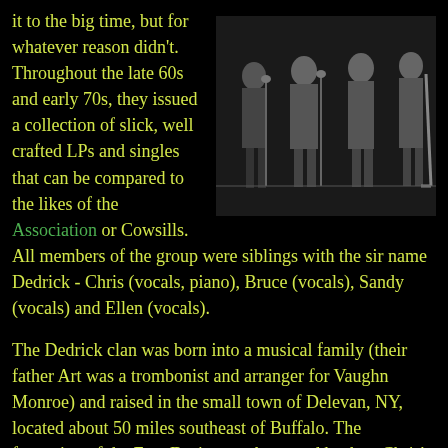[Figure (photo): Black and white photo of a music group, four people standing with microphone stands, in formal attire.]
it to the big time, but for whatever reason didn't. Throughout the late 60s and early 70s, they issued a collection of slick, well crafted LPs and singles that can be compared to the likes of the Association or Cowsills. All members of the group were siblings with the sir name Dedrick - Chris (vocals, piano), Bruce (vocals), Sandy (vocals) and Ellen (vocals).
The Dedrick clan was born into a musical family (their father Art was a trombonist and arranger for Vaughn Monroe) and raised in the small town of Delevan, NY, located about 50 miles southeast of Buffalo. The formation of the Free Design can be traced back to Chris' journey to New York City in 1966 to attend the Manhattan School of Music. It didn't take too long before he was able to convince his brother Bruce and sister Sandy to join him, forming a folk trio that gained local notoriety by performing in the hip Greenwich Village coffee houses. Chris soon began writing his own material, and with